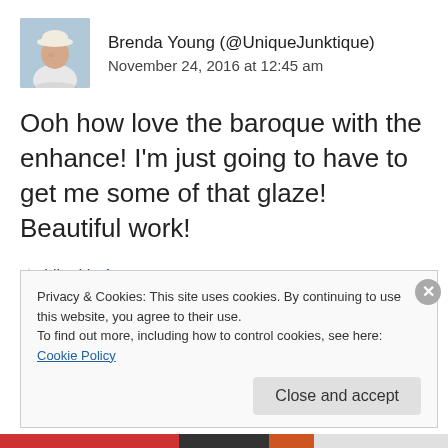[Figure (photo): Avatar photo of Brenda Young, a woman wearing a white hat, outdoors]
Brenda Young (@UniqueJunktique)
November 24, 2016 at 12:45 am
Ooh how love the baroque with the enhance! I'm just going to have to get me some of that glaze! Beautiful work!
★ Liked by 1 person
Reply
Privacy & Cookies: This site uses cookies. By continuing to use this website, you agree to their use.
To find out more, including how to control cookies, see here:
Cookie Policy
Close and accept